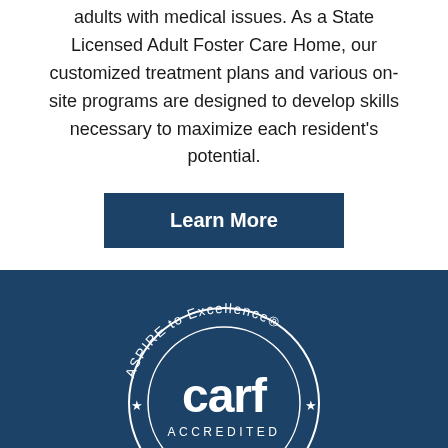adults with medical issues. As a State Licensed Adult Foster Care Home, our customized treatment plans and various on-site programs are designed to develop skills necessary to maximize each resident's potential.
[Figure (other): Dark blue button with white bold text reading 'Learn More']
[Figure (logo): CARF Accredited logo: circular badge with text 'ASPIRE to Excellence' around the top arc, 'carf' in large lowercase letters in the center circle, 'ACCREDITED' below, and decorative stars around the outer ring, all in white on dark blue background.]